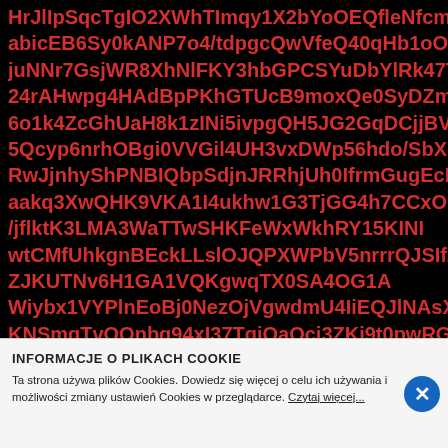HrJlIpSqcTgIO2XWhTImqy1X2bYoOEQfleNfcmBEckIBmjqIWsV92... abicEB6Sy0kANP7o4/tdpgcQwVfeQ40qHb1oOUlTPO9WkjTa4Yt... juNNr7GsjWR8XhNlFKY3hbGPCSYuDbYlRk47TxVSOVMOhE4J... 24rAHwpg4HAdBpPKhGTUcB9moxQe0SyDZmoJwvwMAACAAz... 6o1k4ZcGhUaH8k1zINi5ivpgQH5JG2GqDCjjBV5aoIjrgFSHXW5M... 5Qcyp6nrhOBgi0VVGil4UH3vxDWp56hdo/SbXquOzyVOVOSJB9... RwJjnhyShPNBIQbpSdjnJRRhjUh0IfrmGugEcPiBIIsYx aakq3XwQHK9VKA1I4ukhw1G3TjGG4h7CCxONbpj6xYRFtfUWC... /jflktK3LMA3WaTTwSHKFeWxWkhRY15KINI wtCMfUhkgnBEckLLslOJQPXWPbV5nrrrQJSIfZ82/Kjd9SX/F7HU... ZJKUTNv6H1GA1VQKgwqTX0SA4OG1A Wiybx1VYPlnEoBj0NezOjVgwdmU4IiEQJlNAsXHtYrgiAZU2TOO... KNSmqTvOOnbq94xI37TgiOaOcj3ZKj9t0pwRGFi6p65jsSicZ 86Y4oAGTfpMqP8K72m3UYND7Tq6DQnBEDQfIyKY4xZXxkSY4... wmeWZbUboiNh4JDrYTqo2yPbAbh0An4QuBoZ2GXV0anRAc1H... or2Y2Q7g3EyHZtGmuDARhXfl
INFORMACJE O PLIKACH COOKIE
Ta strona używa plików Cookies. Dowiedz się więcej o celu ich używania i możliwości zmiany ustawień Cookies w przeglądarce. Czytaj więcej...